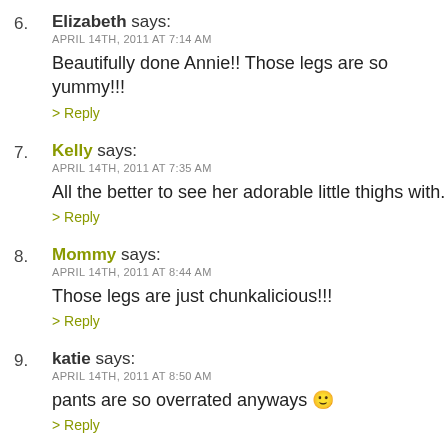6. Elizabeth says: APRIL 14TH, 2011 AT 7:14 AM
Beautifully done Annie!! Those legs are so yummy!!!
> Reply
7. Kelly says: APRIL 14TH, 2011 AT 7:35 AM
All the better to see her adorable little thighs with.
> Reply
8. Mommy says: APRIL 14TH, 2011 AT 8:44 AM
Those legs are just chunkalicious!!!
> Reply
9. katie says: APRIL 14TH, 2011 AT 8:50 AM
pants are so overrated anyways 🙂
> Reply